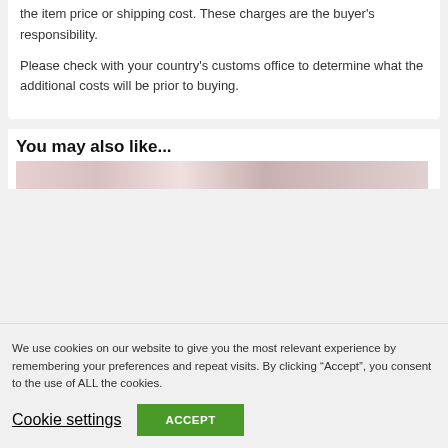the item price or shipping cost. These charges are the buyer's responsibility.
Please check with your country's customs office to determine what the additional costs will be prior to buying.
You may also like...
[Figure (photo): Product images strip showing items in a horizontal carousel]
We use cookies on our website to give you the most relevant experience by remembering your preferences and repeat visits. By clicking “Accept”, you consent to the use of ALL the cookies.
Cookie settings
ACCEPT